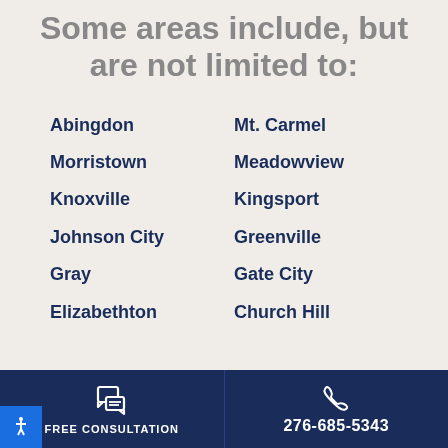Some areas include, but are not limited to:
Abingdon
Mt. Carmel
Morristown
Meadowview
Knoxville
Kingsport
Johnson City
Greenville
Gray
Gate City
Elizabethton
Church Hill
FREE CONSULTATION | 276-685-5343